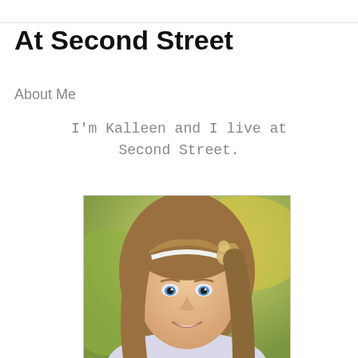At Second Street
About Me
I'm Kalleen and I live at Second Street.
[Figure (photo): Portrait photo of a young woman with long brown hair, blue eyes, wearing a white headband with a flower accessory, smiling. Background is blurred green and gold outdoor setting.]